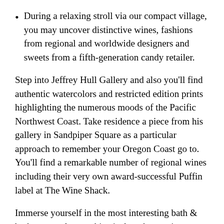During a relaxing stroll via our compact village, you may uncover distinctive wines, fashions from regional and worldwide designers and sweets from a fifth-generation candy retailer.
Step into Jeffrey Hull Gallery and also you'll find authentic watercolors and restricted edition prints highlighting the numerous moods of the Pacific Northwest Coast. Take residence a piece from his gallery in Sandpiper Square as a particular approach to remember your Oregon Coast go to. You'll find a remarkable number of regional wines including their very own award-successful Puffin label at The Wine Shack.
Immerse yourself in the most interesting bath & body care, select a whimsical card or stationary item, find a unique reward for a pal or yourself